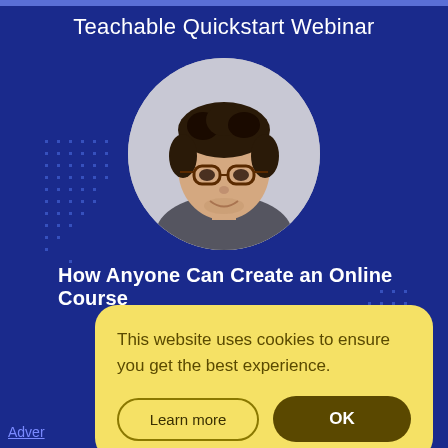Teachable Quickstart Webinar
[Figure (photo): Circular portrait of a young man with curly dark hair, glasses, and a suit with tie, smiling]
How Anyone Can Create an Online Course
This website uses cookies to ensure you get the best experience.
Learn more
OK
Adver